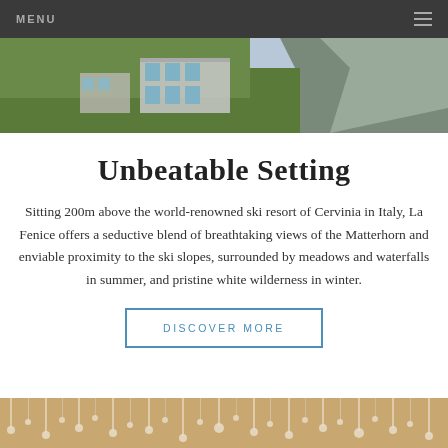MENU
[Figure (photo): Mountain landscape with a building on green hillside and rocky grey cliffs in the background]
Unbeatable Setting
Sitting 200m above the world-renowned ski resort of Cervinia in Italy, La Fenice offers a seductive blend of breathtaking views of the Matterhorn and enviable proximity to the ski slopes, surrounded by meadows and waterfalls in summer, and pristine white wilderness in winter.
DISCOVER MORE
[Figure (photo): Close-up of hanging crystal chandelier decorations with warm lighting]